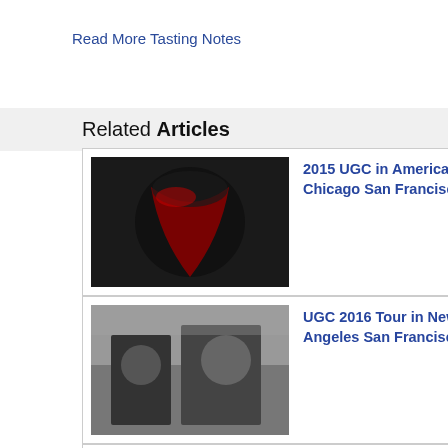Read More Tasting Notes
Related Articles
2015 UGC in America Los Angeles New York Chicago San Francisco
UGC 2016 Tour in New York Chicago Los Angeles San Francisco
New York Wines, Wineries, Wine Making History of New York
Robert Parker Kicks Off First World Tour Grand Wine Events